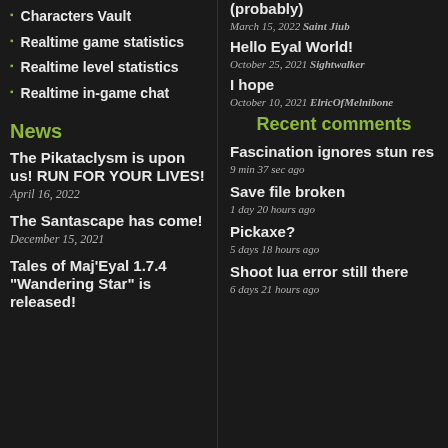Characters Vault
Realtime game statistics
Realtime level statistics
Realtime in-game chat
News
The Pikataclysm is upon us! RUN FOR YOUR LIVES!
April 16, 2022
The Santascape has come!
December 15, 2021
Tales of Maj'Eyal 1.7.4 "Wandering Star" is released!
(probably)
March 15, 2022 Saint Jiub
Hello Eyal World!
October 25, 2021 Sightwalker
I hope
October 10, 2021 ElricOfMelnibone
Recent comments
Fascination ignores stun res
9 min 37 sec ago
Save file broken
1 day 20 hours ago
Pickaxe?
5 days 18 hours ago
Shoot lua error still there
6 days 21 hours ago